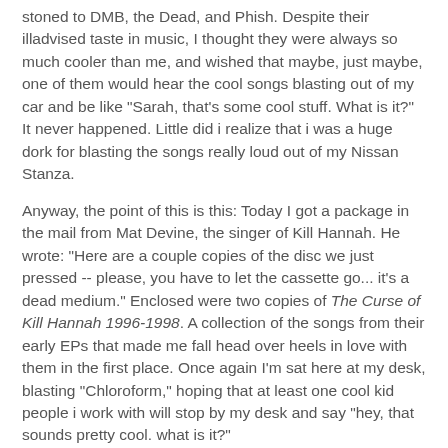stoned to DMB, the Dead, and Phish. Despite their illadvised taste in music, I thought they were always so much cooler than me, and wished that maybe, just maybe, one of them would hear the cool songs blasting out of my car and be like "Sarah, that's some cool stuff. What is it?" It never happened. Little did i realize that i was a huge dork for blasting the songs really loud out of my Nissan Stanza.
Anyway, the point of this is this: Today I got a package in the mail from Mat Devine, the singer of Kill Hannah. He wrote: "Here are a couple copies of the disc we just pressed -- please, you have to let the cassette go... it's a dead medium." Enclosed were two copies of The Curse of Kill Hannah 1996-1998. A collection of the songs from their early EPs that made me fall head over heels in love with them in the first place. Once again I'm sat here at my desk, blasting "Chloroform," hoping that at least one cool kid people i work with will stop by my desk and say "hey, that sounds pretty cool. what is it?"
Anwyay, the track listing for anyone else who might be a fan of Kill Hannah: